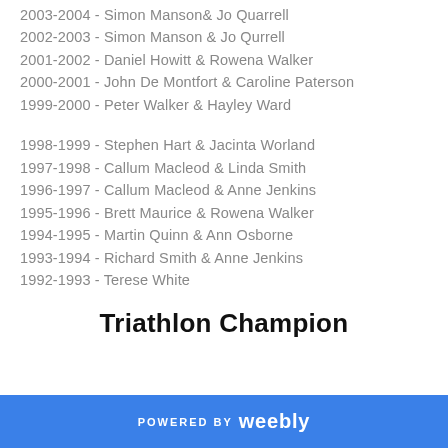2003-2004 - Simon Manson& Jo Quarrell
2002-2003 - Simon Manson & Jo Qurrell
2001-2002 - Daniel Howitt & Rowena Walker
2000-2001 - John De Montfort & Caroline Paterson
1999-2000 - Peter Walker & Hayley Ward
1998-1999 - Stephen Hart & Jacinta Worland
1997-1998 - Callum Macleod & Linda Smith
1996-1997 - Callum Macleod & Anne Jenkins
1995-1996 - Brett Maurice & Rowena Walker
1994-1995 - Martin Quinn & Ann Osborne
1993-1994 - Richard Smith & Anne Jenkins
1992-1993  - Terese White
Triathlon Champion
POWERED BY weebly